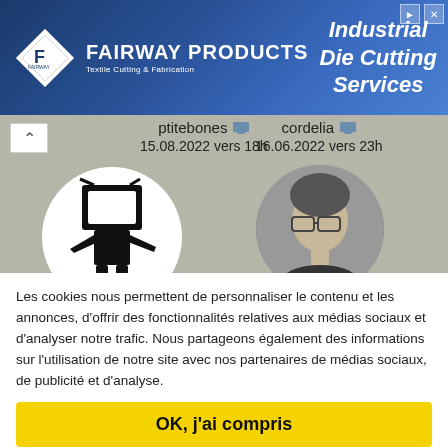[Figure (other): Fairway Products advertisement banner for Industrial Die Cutting Services with blue geometric background and diamond-shaped logo]
ptitebones 15.08.2022 vers 18h
cordelia 16.06.2022 vers 23h
[Figure (illustration): Circular avatar with black silhouette of person with TV head]
Yunamina 09.06.2022 vers 19h
[Figure (photo): Circular avatar with black and white photo of woman with glasses]
melodie93 20.02.2022 vers 22h
[Figure (photo): Partially visible circular avatar with photo of man]
[Figure (photo): Partially visible circular avatar with photo of man on green background]
Les cookies nous permettent de personnaliser le contenu et les annonces, d'offrir des fonctionnalités relatives aux médias sociaux et d'analyser notre trafic. Nous partageons également des informations sur l'utilisation de notre site avec nos partenaires de médias sociaux, de publicité et d'analyse.
OK, j'ai compris